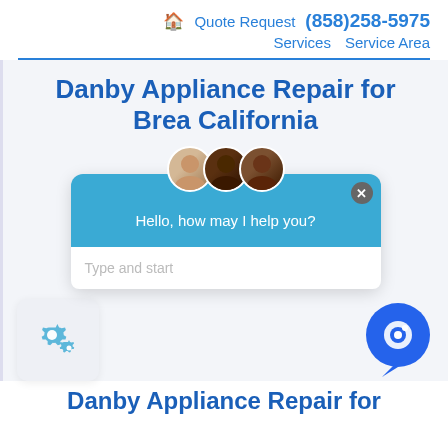🏠 Quote Request (858)258-5975 Services Service Area
Danby Appliance Repair for Brea California
[Figure (screenshot): Live chat widget popup with three agent avatars, greeting 'Hello, how may I help you?', and a text input field with placeholder 'Type and start'. Close button (×) in top right corner.]
[Figure (other): Gear/settings icon in a light gray rounded square box]
[Figure (logo): Blue circular chat icon with Q letter, rounded teardrop shape]
Danby Appliance Repair for